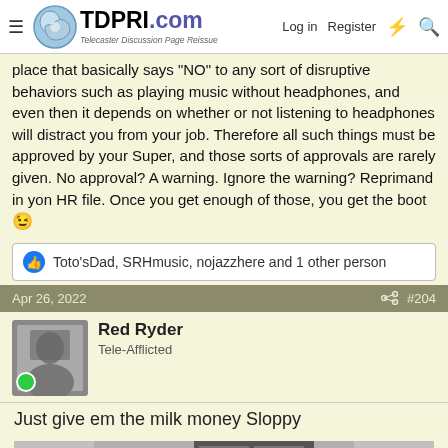TDPRI.com — Telecaster Discussion Page Reissue | Log in | Register
place that basically says 'NO' to any sort of disruptive behaviors such as playing music without headphones, and even then it depends on whether or not listening to headphones will distract you from your job. Therefore all such things must be approved by your Super, and those sorts of approvals are rarely given. No approval? A warning. Ignore the warning? Reprimand in yon HR file. Once you get enough of those, you get the boot 😉
Toto'sDad, SRHmusic, nojazzhere and 1 other person
Apr 26, 2022    #204
Red Ryder
Tele-Afflicted
Just give em the milk money Sloppy
[Figure (photo): Black and white photo showing two children at a doorstep, one appears to be facing away]